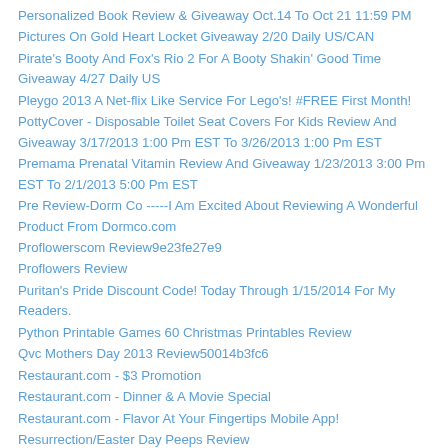Personalized Book Review & Giveaway Oct.14 To Oct 21 11:59 PM
Pictures On Gold Heart Locket Giveaway 2/20 Daily US/CAN
Pirate's Booty And Fox's Rio 2 For A Booty Shakin' Good Time Giveaway 4/27 Daily US
Pleygo 2013 A Net-flix Like Service For Lego's! #FREE First Month!
PottyCover - Disposable Toilet Seat Covers For Kids Review And Giveaway 3/17/2013 1:00 Pm EST To 3/26/2013 1:00 Pm EST
Premama Prenatal Vitamin Review And Giveaway 1/23/2013 3:00 Pm EST To 2/1/2013 5:00 Pm EST
Pre Review-Dorm Co -----I Am Excited About Reviewing A Wonderful Product From Dormco.com
Proflowerscom Review9e23fe27e9
Proflowers Review
Puritan's Pride Discount Code! Today Through 1/15/2014 For My Readers.
Python Printable Games 60 Christmas Printables Review
Qvc Mothers Day 2013 Review50014b3fc6
Restaurant.com - $3 Promotion
Restaurant.com - Dinner & A Movie Special
Restaurant.com - Flavor At Your Fingertips Mobile App!
Resurrection/Easter Day Peeps Review